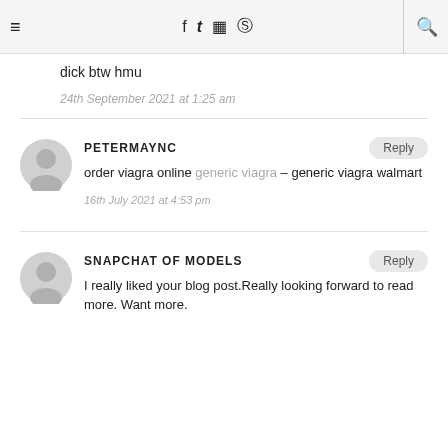≡  f  𝕥  ⊡  ℗  🔍
dick btw hmu
24th September 2021 at 1:25 am
PETERMAYNC
order viagra online generic viagra – generic viagra walmart
16th July 2021 at 4:53 pm
SNAPCHAT OF MODELS
I really liked your blog post.Really looking forward to read more. Want more.